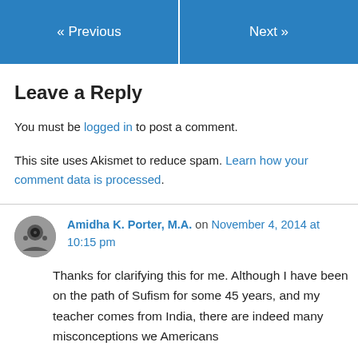« Previous   Next »
Leave a Reply
You must be logged in to post a comment.
This site uses Akismet to reduce spam. Learn how your comment data is processed.
Amidha K. Porter, M.A. on November 4, 2014 at 10:15 pm
Thanks for clarifying this for me. Although I have been on the path of Sufism for some 45 years, and my teacher comes from India, there are indeed many misconceptions we Americans